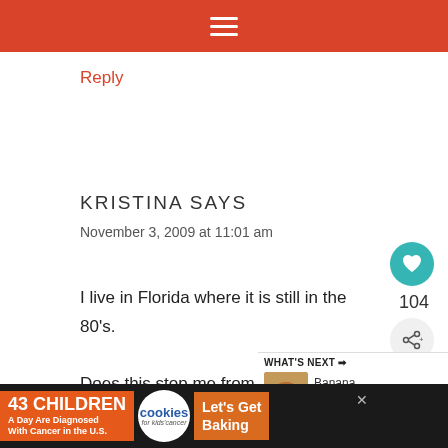[Figure (screenshot): Red navigation bar with hamburger menu icon (three white horizontal lines) centered on a red/orange background]
Reply
KRISTINA SAYS
November 3, 2009 at 11:01 am
I live in Florida where it is still in the 80's.

Does this stop me from acting like it's flannel sheet weather? NO. Pacific NW, heart you!
[Figure (screenshot): What's Next panel with Banana Brownie Loa... thumbnail and title]
[Figure (screenshot): Advertisement banner: 43 Children A Day Are Diagnosed With Cancer in the U.S. cookies for kids cancer Let's Get Baking]